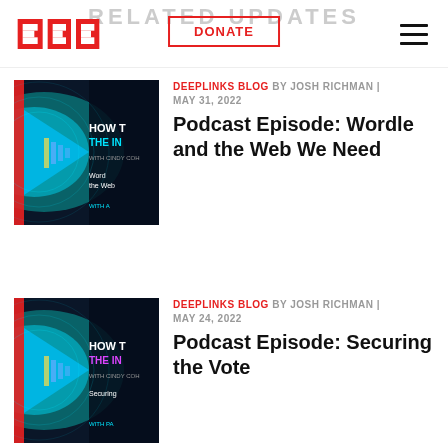RELATED UPDATES
[Figure (logo): EFF logo in red]
DONATE
[Figure (illustration): Podcast thumbnail - How The Internet Works with Cindy Cohn - Wordle and the Web]
DEEPLINKS BLOG BY JOSH RICHMAN | MAY 31, 2022
Podcast Episode: Wordle and the Web We Need
[Figure (illustration): Podcast thumbnail - How The Internet Works with Cindy Cohn - Securing the Vote]
DEEPLINKS BLOG BY JOSH RICHMAN | MAY 24, 2022
Podcast Episode: Securing the Vote